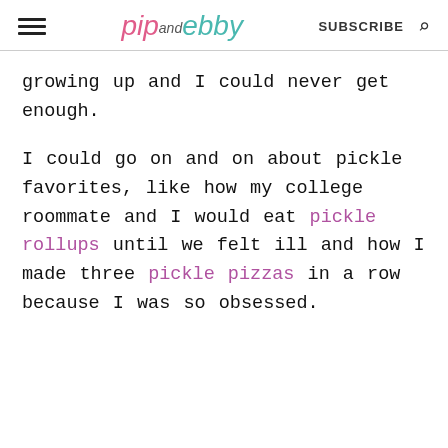pip and ebby — SUBSCRIBE
growing up and I could never get enough.
I could go on and on about pickle favorites, like how my college roommate and I would eat pickle rollups until we felt ill and how I made three pickle pizzas in a row because I was so obsessed.